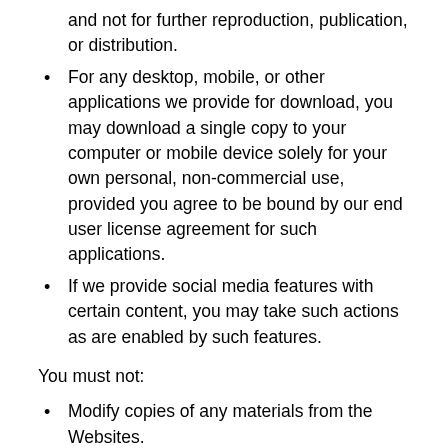and not for further reproduction, publication, or distribution.
For any desktop, mobile, or other applications we provide for download, you may download a single copy to your computer or mobile device solely for your own personal, non-commercial use, provided you agree to be bound by our end user license agreement for such applications.
If we provide social media features with certain content, you may take such actions as are enabled by such features.
You must not:
Modify copies of any materials from the Websites.
Use any illustrations, photographs, video or audio sequences, or any graphics separately